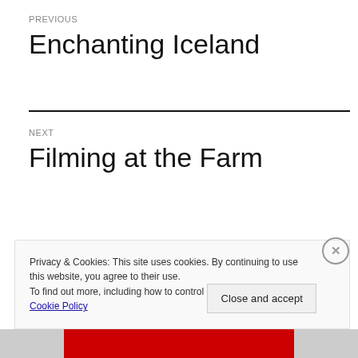PREVIOUS
Enchanting Iceland
NEXT
Filming at the Farm
Privacy & Cookies: This site uses cookies. By continuing to use this website, you agree to their use.
To find out more, including how to control cookies, see here: Cookie Policy
Close and accept